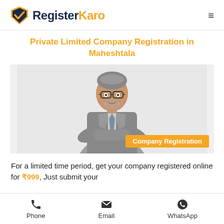[Figure (logo): RegisterKaro logo with orange checkmark shield icon and dark navy/orange text, plus hamburger menu icon on the right]
Private Limited Company Registration in Maheshtala
[Figure (photo): A middle-aged Indian man in a grey suit with arms crossed, smiling, wearing glasses. An orange banner overlay reads 'Company Registration'.]
For a limited time period, get your company registered online for ₹999, Just submit your
Phone   Email   WhatsApp